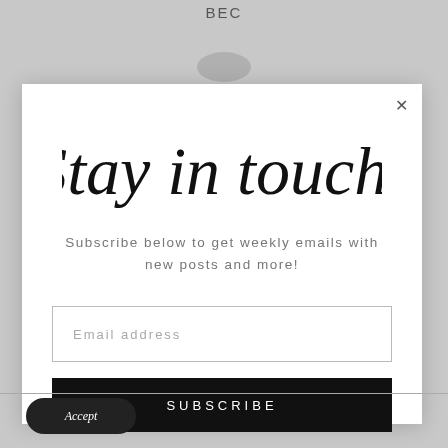BEC
[Figure (screenshot): Modal popup overlay on a gray background with subscription form]
Stay in touch!
Subscribe below to get weekly emails with new posts and more!
Email address
SUBSCRIBE
Accept